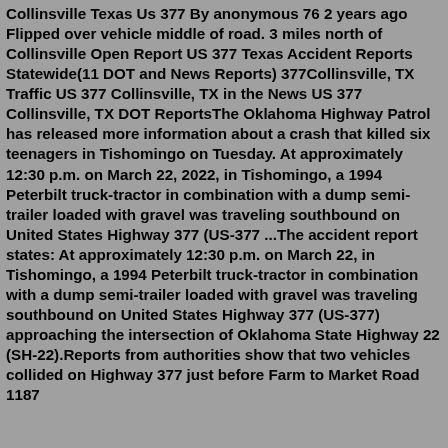Collinsville Texas Us 377 By anonymous 76 2 years ago Flipped over vehicle middle of road. 3 miles north of Collinsville Open Report US 377 Texas Accident Reports Statewide(11 DOT and News Reports) 377Collinsville, TX Traffic US 377 Collinsville, TX in the News US 377 Collinsville, TX DOT ReportsThe Oklahoma Highway Patrol has released more information about a crash that killed six teenagers in Tishomingo on Tuesday. At approximately 12:30 p.m. on March 22, 2022, in Tishomingo, a 1994 Peterbilt truck-tractor in combination with a dump semi-trailer loaded with gravel was traveling southbound on United States Highway 377 (US-377 ...The accident report states: At approximately 12:30 p.m. on March 22, in Tishomingo, a 1994 Peterbilt truck-tractor in combination with a dump semi-trailer loaded with gravel was traveling southbound on United States Highway 377 (US-377) approaching the intersection of Oklahoma State Highway 22 (SH-22).Reports from authorities show that two vehicles collided on Highway 377 just before Farm to Market Road 1187